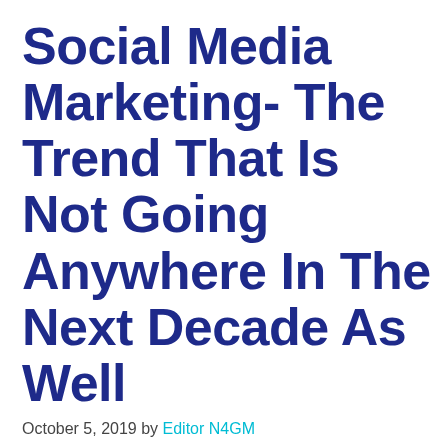Social Media Marketing- The Trend That Is Not Going Anywhere In The Next Decade As Well
October 5, 2019 by Editor N4GM